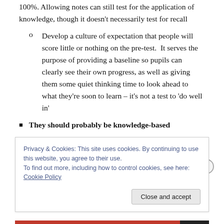100%. Allowing notes can still test for the application of knowledge, though it doesn't necessarily test for recall
o   Develop a culture of expectation that people will score little or nothing on the pre-test.  It serves the purpose of providing a baseline so pupils can clearly see their own progress, as well as giving them some quiet thinking time to look ahead to what they're soon to learn – it's not a test to 'do well in'
They should probably be knowledge-based
Privacy & Cookies: This site uses cookies. By continuing to use this website, you agree to their use.
To find out more, including how to control cookies, see here: Cookie Policy